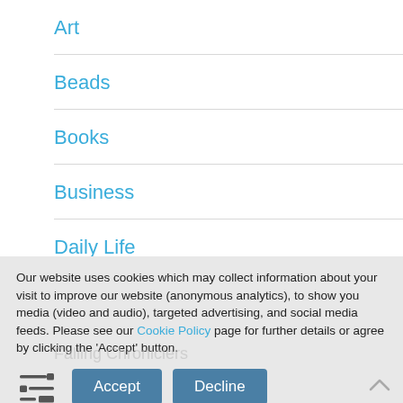Art
Beads
Books
Business
Daily Life
Dead Sexy
Our website uses cookies which may collect information about your visit to improve our website (anonymous analytics), to show you media (video and audio), targeted advertising, and social media feeds. Please see our Cookie Policy page for further details or agree by clicking the 'Accept' button.